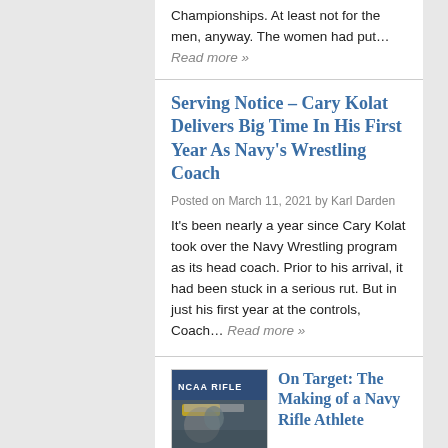Championships. At least not for the men, anyway. The women had put… Read more »
Serving Notice – Cary Kolat Delivers Big Time In His First Year As Navy's Wrestling Coach
Posted on March 11, 2021 by Karl Darden
It's been nearly a year since Cary Kolat took over the Navy Wrestling program as its head coach. Prior to his arrival, it had been stuck in a serious rut. But in just his first year at the controls, Coach… Read more »
On Target: The Making of a Navy Rifle Athlete
Posted on November 13, 2020 by Karl Darden